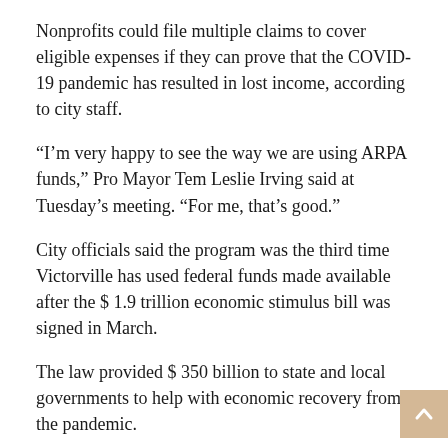Nonprofits could file multiple claims to cover eligible expenses if they can prove that the COVID-19 pandemic has resulted in lost income, according to city staff.
“I’m very happy to see the way we are using ARPA funds,” Pro Mayor Tem Leslie Irving said at Tuesday’s meeting. “For me, that’s good.”
City officials said the program was the third time Victorville has used federal funds made available after the $ 1.9 trillion economic stimulus bill was signed in March.
The law provided $ 350 billion to state and local governments to help with economic recovery from the pandemic.
The largest city in the High Desert received $ 33.5 million, with the first portion of around $ 16.7 million received in June, city analyst Tony Camargo said. The next installment is expected to arrive the same month in 2022.